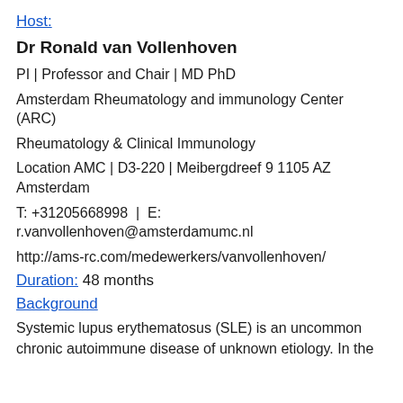Host:
Dr Ronald van Vollenhoven
PI | Professor and Chair | MD PhD
Amsterdam Rheumatology and immunology Center (ARC)
Rheumatology & Clinical Immunology
Location AMC | D3-220 | Meibergdreef 9 1105 AZ Amsterdam
T: +31205668998  |  E: r.vanvollenhoven@amsterdamumc.nl
http://ams-rc.com/medewerkers/vanvollenhoven/
Duration: 48 months
Background
Systemic lupus erythematosus (SLE) is an uncommon chronic autoimmune disease of unknown etiology. In the